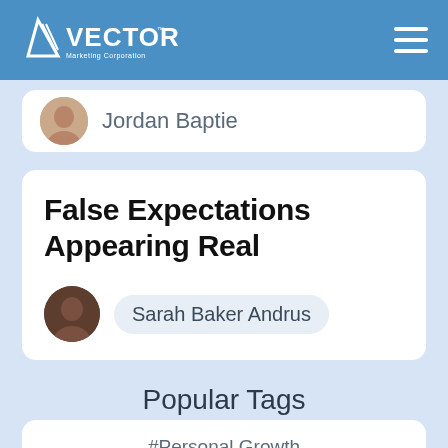[Figure (logo): Vector Marketing Corporation logo — white triangle/V shape with triple lines and VECTOR text, on blue navigation bar with hamburger menu icon]
Jordan Baptie
False Expectations Appearing Real
Sarah Baker Andrus
Popular Tags
#Personal Growth